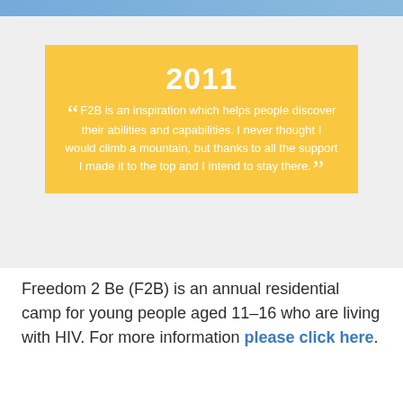[Figure (infographic): Yellow quote box with year 2011 and a testimonial quote about F2B (Freedom 2 Be) program helping people discover abilities and climb a mountain.]
Freedom 2 Be (F2B) is an annual residential camp for young people aged 11–16 who are living with HIV. For more information please click here.